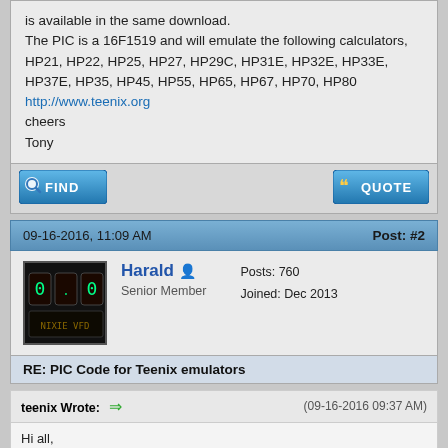is available in the same download.

The PIC is a 16F1519 and will emulate the following calculators,

HP21, HP22, HP25, HP27, HP29C, HP31E, HP32E, HP33E, HP37E, HP35, HP45, HP55, HP65, HP67, HP70, HP80

http://www.teenix.org

cheers

Tony
09-16-2016, 11:09 AM
Post: #2
Harald
Senior Member
Posts: 760
Joined: Dec 2013
RE: PIC Code for Teenix emulators
teenix Wrote: (09-16-2016 09:37 AM)
Hi all,